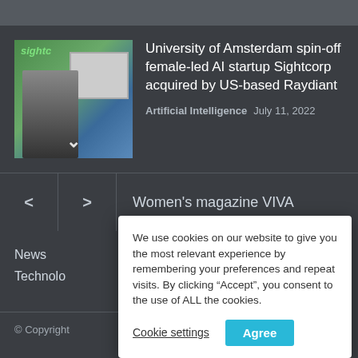[Figure (screenshot): Thumbnail image of a person standing in front of a screen with Sightcorp logo visible]
University of Amsterdam spin-off female-led AI startup Sightcorp acquired by US-based Raydiant
Artificial Intelligence  July 11, 2022
Women's magazine VIVA
News
Technology
© Copyright
We use cookies on our website to give you the most relevant experience by remembering your preferences and repeat visits. By clicking “Accept”, you consent to the use of ALL the cookies.
Cookie settings  Agree